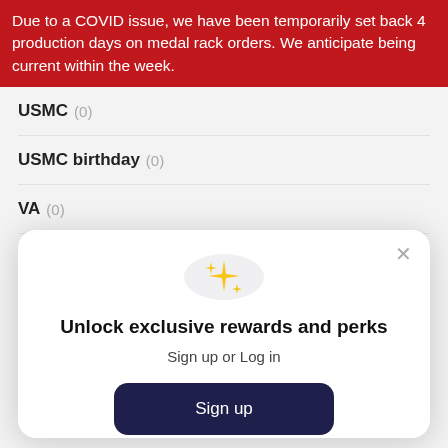Due to a COVID issue, we have been temporarily set back 4 production days on medal rack orders. We anticipate being current within the week.
USMC (0)
USMC birthday (0)
VA (0)
Unlock exclusive rewards and perks
Sign up or Log in
Sign up
Already have an account? Sign in